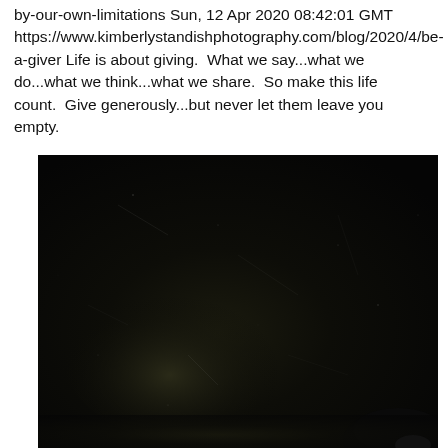by-our-own-limitations Sun, 12 Apr 2020 08:42:01 GMT https://www.kimberlystandishphotography.com/blog/2020/4/be-a-giver Life is about giving.  What we say...what we do...what we think...what we share.  So make this life count.  Give generously...but never let them leave you empty.
[Figure (photo): A very dark, nearly black photograph showing a textured surface with faint dust/scratches and a barely visible rounded dark object (possibly a bowl or hat) in the lower right area. The image is very underexposed with minimal detail visible.]